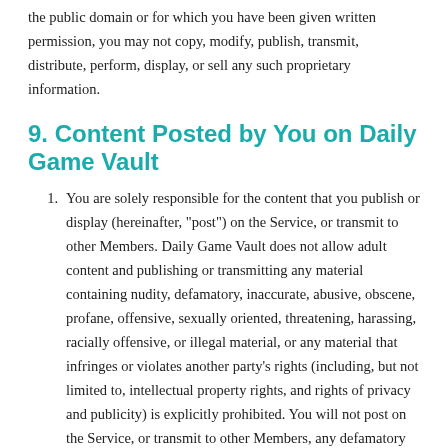the public domain or for which you have been given written permission, you may not copy, modify, publish, transmit, distribute, perform, display, or sell any such proprietary information.
9. Content Posted by You on Daily Game Vault
You are solely responsible for the content that you publish or display (hereinafter, "post") on the Service, or transmit to other Members. Daily Game Vault does not allow adult content and publishing or transmitting any material containing nudity, defamatory, inaccurate, abusive, obscene, profane, offensive, sexually oriented, threatening, harassing, racially offensive, or illegal material, or any material that infringes or violates another party's rights (including, but not limited to, intellectual property rights, and rights of privacy and publicity) is explicitly prohibited. You will not post on the Service, or transmit to other Members, any defamatory...